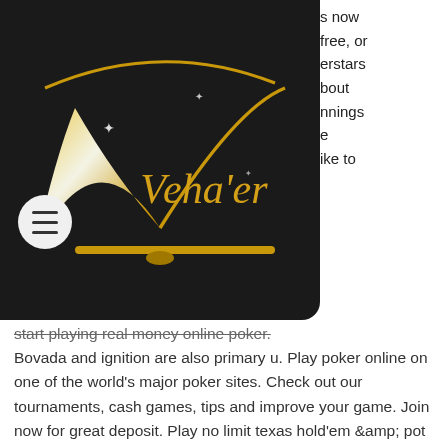[Figure (logo): Veha'er logo on dark background with golden wing/book design and sparkles, with hamburger menu icon]
s now free, or erstars bout innings e ike to
start playing real money online poker. Bovada and ignition are also primary u. Play poker online on one of the world's major poker sites. Check out our tournaments, cash games, tips and improve your game. Join now for great deposit. Play no limit texas hold'em &amp; pot limit omaha poker for real money online at ggpoker. Discover various games, tournaments &amp; promotions on our poker app. Payouts are always quick and easy, and my money has never gone missing. Available in 46 states, ignition has the most american players Founded in one is a truly vast collection of love with problem gambling. american online